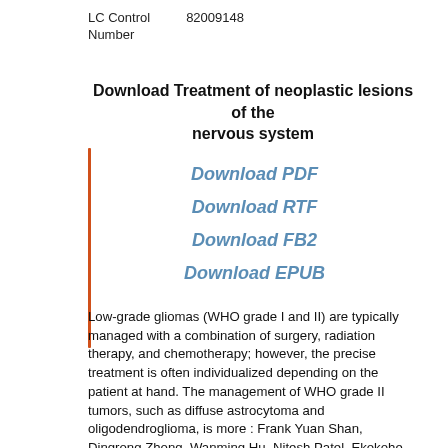LC Control Number    82009148
Download Treatment of neoplastic lesions of the nervous system
Download PDF
Download RTF
Download FB2
Download EPUB
Low-grade gliomas (WHO grade I and II) are typically managed with a combination of surgery, radiation therapy, and chemotherapy; however, the precise treatment is often individualized depending on the patient at hand. The management of WHO grade II tumors, such as diffuse astrocytoma and oligodendroglioma, is more : Frank Yuan Shan, Dingrong Zhong, Wanming Hu, Nitesh Patel, Ekokohe Fonkem, Dongxia Feng, Yilu Zhang